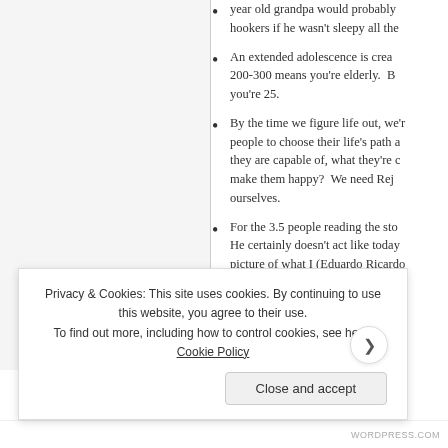year old grandpa would probably hookers if he wasn't sleepy all the
An extended adolescence is crea 200-300 means you're elderly. B you're 25.
By the time we figure life out, we're people to choose their life's path a they are capable of, what they're c make them happy? We need Rej ourselves.
For the 3.5 people reading the sto He certainly doesn't act like today picture of what I (Eduardo Ricardo one
Privacy & Cookies: This site uses cookies. By continuing to use this website, you agree to their use. To find out more, including how to control cookies, see here: Cookie Policy
Close and accept